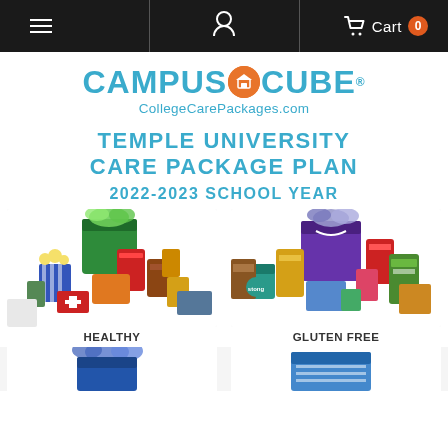Navigation bar with hamburger menu, user icon, Cart 0
[Figure (logo): CAMPUS O CUBE logo with orange circle O, subtitle CollegeCarePackages.com]
TEMPLE UNIVERSITY CARE PACKAGE PLAN 2022-2023 SCHOOL YEAR
[Figure (photo): Healthy care package with assorted snacks in green gift bag]
HEALTHY
[Figure (photo): Gluten free care package with assorted snacks in purple gift bag]
GLUTEN FREE
[Figure (photo): Partial view of another care package at bottom left]
[Figure (photo): Partial view of another care package at bottom right]